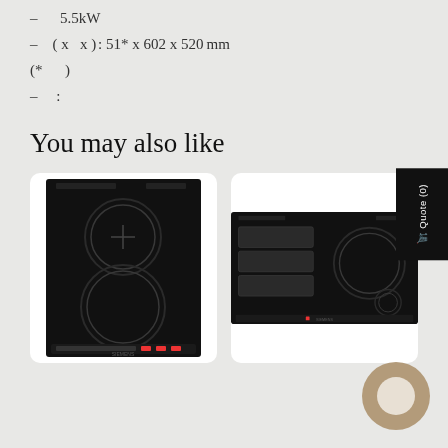– 5.5kW
– ( x  x ): 51* x 602 x 520mm
(* )
– :
You may also like
[Figure (photo): Black induction hob with two circular cooking zones, Siemens branded, vertical orientation]
[Figure (photo): Wide black induction hob with flex zone on left and circular cooking zones on right, Siemens branded]